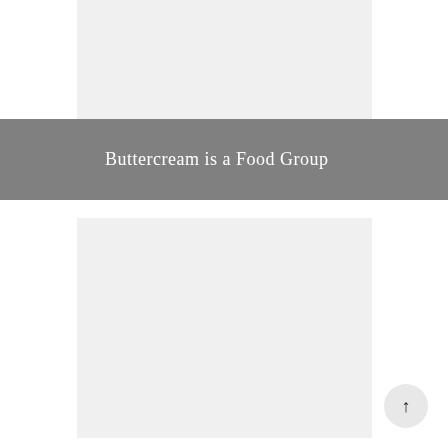[Figure (photo): Light gray rectangular image placeholder at top center of page]
Buttercream is a Food Group
[Figure (photo): Light gray rectangular image placeholder at bottom center of page]
[Figure (other): Scroll-to-top button with upward arrow in bottom right corner]